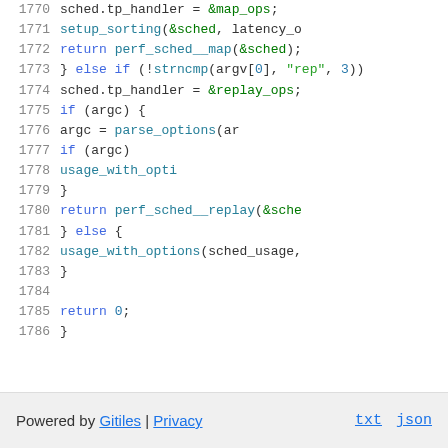[Figure (screenshot): Source code viewer showing lines 1770-1786 of a C program with syntax highlighting. Keywords in blue, strings in green, function calls in teal, numbers in blue.]
Powered by Gitiles | Privacy    txt  json